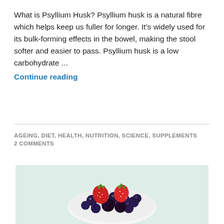What is Psyllium Husk? Psyllium husk is a natural fibre which helps keep us fuller for longer. It's widely used for its bulk-forming effects in the bowel, making the stool softer and easier to pass. Psyllium husk is a low carbohydrate ... Continue reading
AGEING, DIET, HEALTH, NUTRITION, SCIENCE, SUPPLEMENTS
2 COMMENTS
[Figure (photo): A heart-shaped white bowl filled with mixed berries including strawberries, blackberries, and blueberries on a light mint/green background]